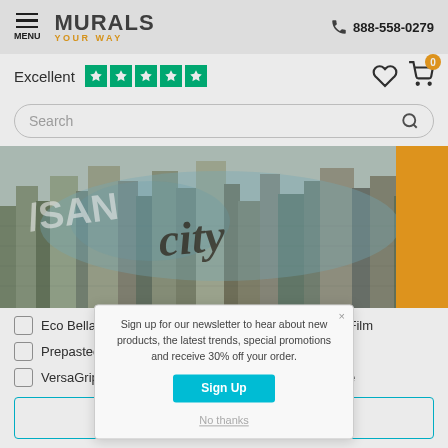[Figure (screenshot): Murals Your Way website header with menu icon, logo, and phone number 888-558-0279]
Excellent ★★★★★
[Figure (screenshot): Search bar with placeholder text 'Search' and magnifying glass icon]
[Figure (photo): City skyline banner image with text overlay 'SAN city' and orange SAVE 30% badge on right side]
Eco Bella™ - Texture
Frosted Window Film
Prepasted Wallpaper
SmartStick®
VersaGrip
Vinyl HD - Texture
Sign up for our newsletter to hear about new products, the latest trends, special promotions and receive 30% off your order.